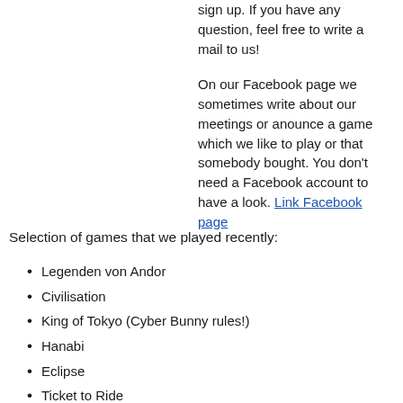sign up. If you have any question, feel free to write a mail to us!
On our Facebook page we sometimes write about our meetings or anounce a game which we like to play or that somebody bought. You don't need a Facebook account to have a look. Link Facebook page
Selection of games that we played recently:
Legenden von Andor
Civilisation
King of Tokyo (Cyber Bunny rules!)
Hanabi
Eclipse
Ticket to Ride
Kingdom Builder
Tichu